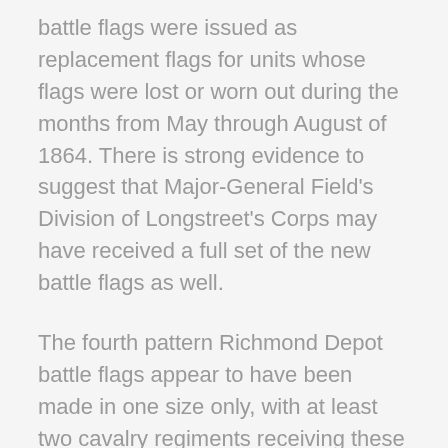battle flags were issued as replacement flags for units whose flags were lost or worn out during the months from May through August of 1864. There is strong evidence to suggest that Major-General Field's Division of Longstreet's Corps may have received a full set of the new battle flags as well.
The fourth pattern Richmond Depot battle flags appear to have been made in one size only, with at least two cavalry regiments receiving these relatively large size flags. Except for two North Carolina units whose flags were marked with unit abbreviations and battle honors in the style of the divisional issues of 1863, the flags left the Richmond Clothing Depot without honors or unit abbreviations. A few regiments in the field applied unit abbreviations from content of the Depot for the